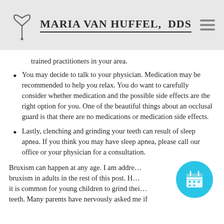Maria Van Huffel, DDS
trained practitioners in your area.
You may decide to talk to your physician. Medication may be recommended to help you relax. You do want to carefully consider whether medication and the possible side effects are the right option for you. One of the beautiful things about an occlusal guard is that there are no medications or medication side effects.
Lastly, clenching and grinding your teeth can result of sleep apnea. If you think you may have sleep apnea, please call our office or your physician for a consultation.
Bruxism can happen at any age. I am addressing bruxism in adults in the rest of this post. However, it is common for young children to grind their teeth. Many parents have nervously asked me if